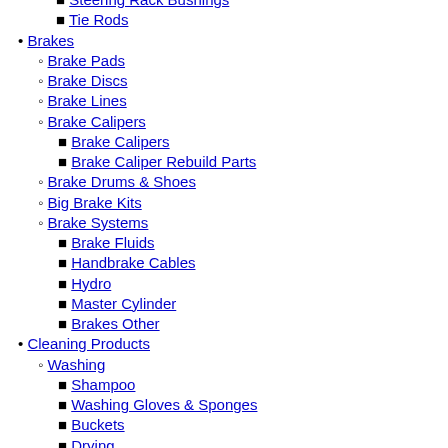Steering Rack Bushings
Tie Rods
Brakes
Brake Pads
Brake Discs
Brake Lines
Brake Calipers
Brake Calipers
Brake Caliper Rebuild Parts
Brake Drums & Shoes
Big Brake Kits
Brake Systems
Brake Fluids
Handbrake Cables
Hydro
Master Cylinder
Brakes Other
Cleaning Products
Washing
Shampoo
Washing Gloves & Sponges
Buckets
Drying
Cleaning & Polishing
Polishing